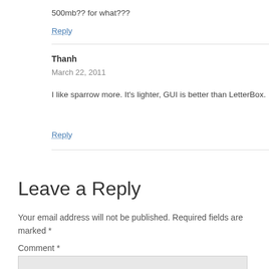500mb?? for what???
Reply
Thanh
March 22, 2011
I like sparrow more. It’s lighter, GUI is better than LetterBox.
Reply
Leave a Reply
Your email address will not be published. Required fields are marked *
Comment *